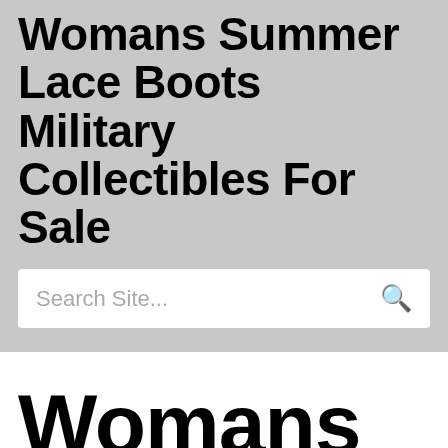Womans Summer Lace Boots Military Collectibles For Sale
Search Site...
Womans Summer